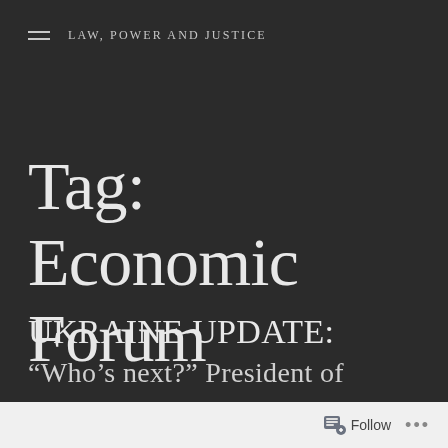LAW, POWER AND JUSTICE
Tag: Economic Forum
UKRAINE UPDATE: “Who’s next?” President of